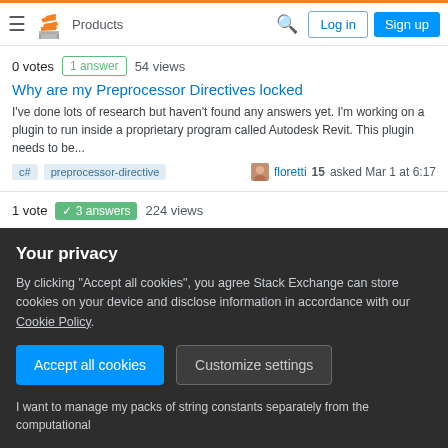Stack Overflow navigation bar with Products, Search, Log in, Sign up
0 votes  1 answer  54 views
Why are my Preprocessor Directives locked
I've done lots of research but haven't found any answers yet. I'm working on a plugin to run inside a proprietary program called Autodesk Revit. This plugin needs to be...
c#  preprocessor-directive  floretti 15 asked Mar 1 at 6:17
1 vote  3 answers  224 views
How do c/c++ preprocessors work when encountering unknown directives?
Do c/c++ preprocessors process all lines that begin with #? Does is errors out when encountering unknown macros or will it just ignore them? for an example, #include...
Your privacy
By clicking "Accept all cookies", you agree Stack Exchange can store cookies on your device and disclose information in accordance with our Cookie Policy.
Accept all cookies  Customize settings
I want to manage my packs of string constants separately from the computational